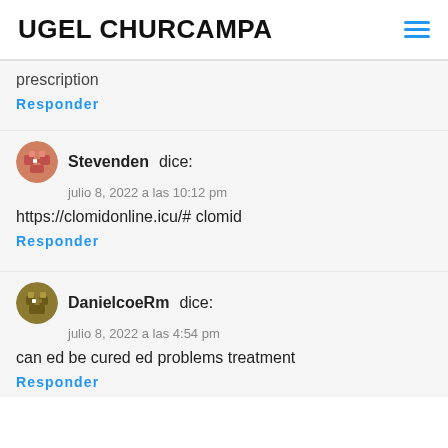UGEL CHURCAMPA
prescription
Responder
Stevenden dice:
julio 8, 2022 a las 10:12 pm
https://clomidonline.icu/# clomid
Responder
DanielcoeRm dice:
julio 8, 2022 a las 4:54 pm
can ed be cured ed problems treatment
Responder